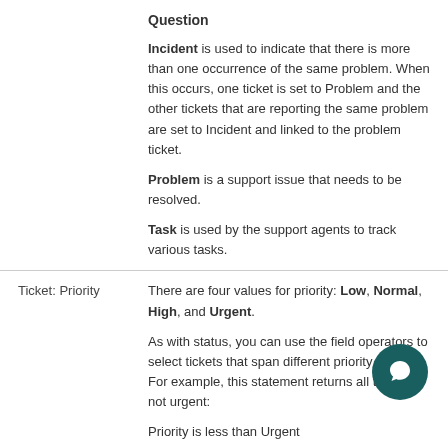Question
Incident is used to indicate that there is more than one occurrence of the same problem. When this occurs, one ticket is set to Problem and the other tickets that are reporting the same problem are set to Incident and linked to the problem ticket.
Problem is a support issue that needs to be resolved.
Task is used by the support agents to track various tasks.
Ticket: Priority
There are four values for priority: Low, Normal, High, and Urgent.
As with status, you can use the field operators to select tickets that span different priority settings. For example, this statement returns all tickets not urgent:
Priority is less than Urgent